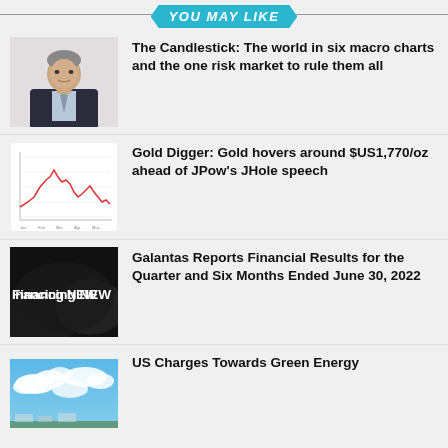YOU MAY LIKE
[Figure (photo): Man in dark suit, professional headshot, light background]
The Candlestick: The world in six macro charts and the one risk market to rule them all
[Figure (line-chart): Gold price line chart, red line showing price fluctuations, white background]
Gold Digger: Gold hovers around $US1,770/oz ahead of JPow's JHole speech
[Figure (photo): Dark image with text 'Financing NEWS' overlaid]
Galantas Reports Financial Results for the Quarter and Six Months Ended June 30, 2022
[Figure (photo): Blue sky with clouds photo]
US Charges Towards Green Energy